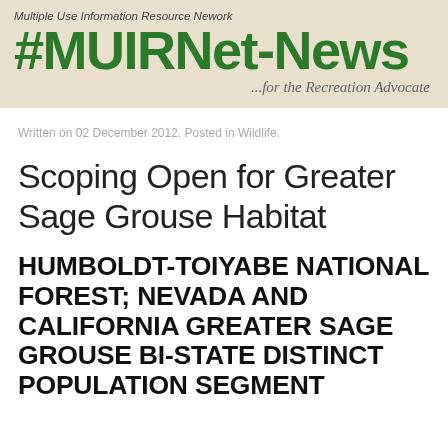Multiple Use Information Resource Nework
MUUIRNet-News ...for the Recreation Advocate
Written on 02 December 2012. Posted in Wildlife.
Scoping Open for Greater Sage Grouse Habitat
HUMBOLDT-TOIYABE NATIONAL FOREST; NEVADA AND CALIFORNIA GREATER SAGE GROUSE BI-STATE DISTINCT POPULATION SEGMENT